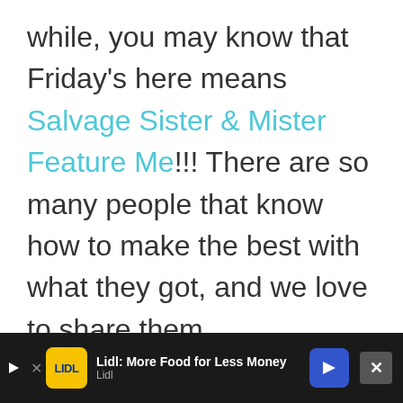while, you may know that Friday's here means Salvage Sister & Mister Feature Me!!! There are so many people that know how to make the best with what they got, and we love to share them.
As we mentioned before
[Figure (screenshot): Advertisement bar for Lidl: More Food for Less Money, with Lidl logo, blue arrow button, and close X button on dark background]